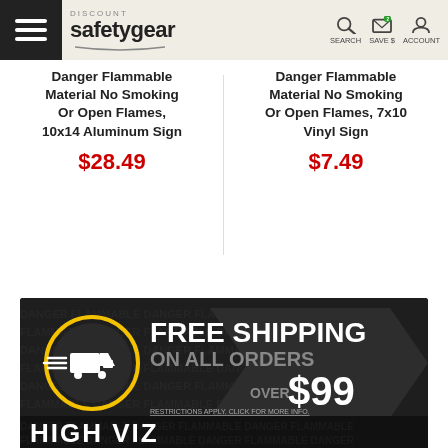DISCOUNT safetygear — SEARCH SAVE $ ACCOUNT
Danger Flammable Material No Smoking Or Open Flames, 10x14 Aluminum Sign
$28.49
Danger Flammable Material No Smoking Or Open Flames, 7x10 Vinyl Sign
$7.49
[Figure (infographic): Free Shipping on all orders over $99 promotional banner with truck icon in yellow circle, dark background with hazard stripe at bottom. Text: FREE SHIPPING ON ALL ORDERS OVER $99. RESTRICTIONS APPLY. CLICK FOR MORE INFO.]
[Figure (infographic): HIGH VIZ banner section partially visible at bottom of page]